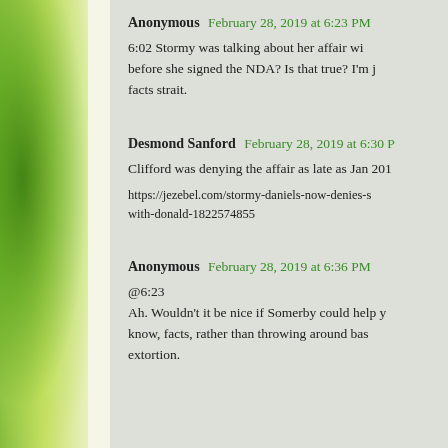Anonymous February 28, 2019 at 6:23 PM
6:02 Stormy was talking about her affair wi... before she signed the NDA? Is that true? I'm j... facts strait.
Desmond Sanford February 28, 2019 at 6:30 P...
Clifford was denying the affair as late as Jan 201...
https://jezebel.com/stormy-daniels-now-denies-s... with-donald-1822574855
Anonymous February 28, 2019 at 6:36 PM
@6:23
Ah. Wouldn't it be nice if Somerby could help y... know, facts, rather than throwing around bas... extortion.